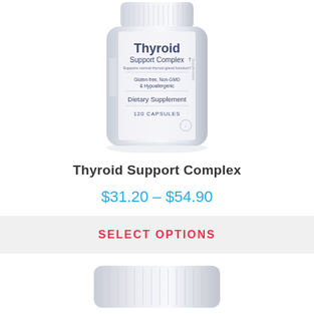[Figure (photo): White supplement bottle labeled 'Thyroid Support Complex', Gluten-free, Non-GMO & Hypoallergenic, Dietary Supplement, 120 Capsules]
Thyroid Support Complex
$31.20 – $54.90
SELECT OPTIONS
[Figure (photo): Top of a white supplement bottle cap, partially visible at bottom of page]